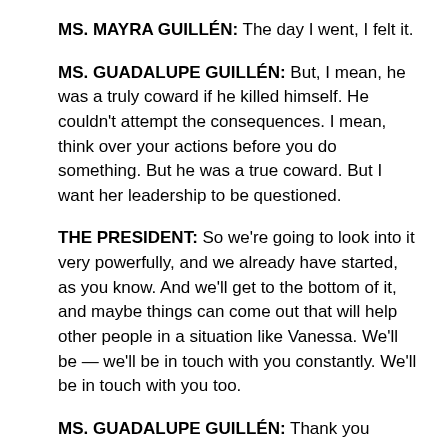MS. MAYRA GUILLÉN:  The day I went, I felt it.
MS. GUADALUPE GUILLÉN:  But, I mean, he was a truly coward if he killed himself.  He couldn't attempt the consequences.  I mean, think over your actions before you do something.  But he was a true coward.  But I want her leadership to be questioned.
THE PRESIDENT:  So we're going to look into it very powerfully, and we already have started, as you know.  And we'll get to the bottom of it, and maybe things can come out that will help other people in a situation like Vanessa.  We'll be — we'll be in touch with you constantly.  We'll be in touch with you too.
MS. GUADALUPE GUILLÉN:  Thank you